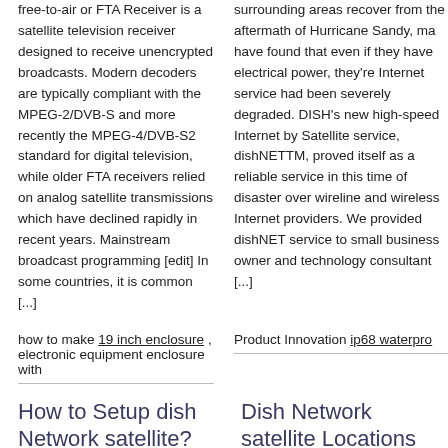free-to-air or FTA Receiver is a satellite television receiver designed to receive unencrypted broadcasts. Modern decoders are typically compliant with the MPEG-2/DVB-S and more recently the MPEG-4/DVB-S2 standard for digital television, while older FTA receivers relied on analog satellite transmissions which have declined rapidly in recent years. Mainstream broadcast programming [edit] In some countries, it is common [...]
surrounding areas recover from the aftermath of Hurricane Sandy, ma have found that even if they have electrical power, they're Internet service had been severely degraded. DISH's new high-speed Internet by Satellite service, dishNETTM, proved itself as a reliable service in this time of disaster over wireline and wireless Internet providers. We provided dishNET service to small business owner and technology consultant [...]
how to make 19 inch enclosure , electronic equipment enclosure with
Product Innovation ip68 waterpro
How to Setup dish Network satellite?
Dish Network satellite Locations
[Figure (other): Empty placeholder box under 'How to Setup dish Network satellite?']
[Figure (other): Empty placeholder box under 'Dish Network satellite Locations']